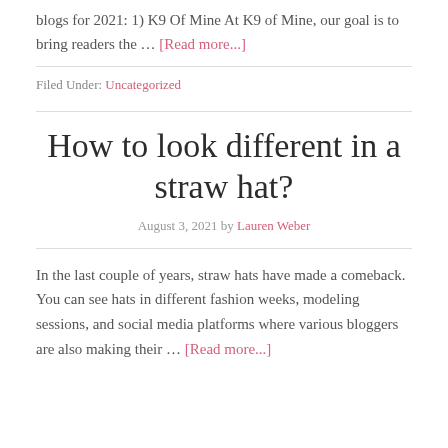blogs for 2021: 1) K9 Of Mine At K9 of Mine, our goal is to bring readers the … [Read more...]
Filed Under: Uncategorized
How to look different in a straw hat?
August 3, 2021 by Lauren Weber
In the last couple of years, straw hats have made a comeback. You can see hats in different fashion weeks, modeling sessions, and social media platforms where various bloggers are also making their … [Read more...]